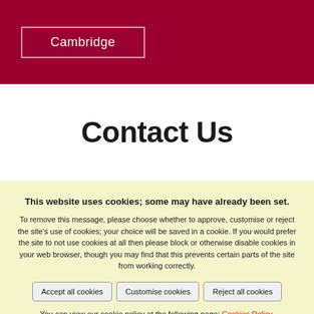Cambridge
Contact Us
This website uses cookies; some may have already been set.
To remove this message, please choose whether to approve, customise or reject the site's use of cookies; your choice will be saved in a cookie. If you would prefer the site to not use cookies at all then please block or otherwise disable cookies in your web browser, though you may find that this prevents certain parts of the site from working correctly.
Accept all cookies | Customise cookies | Reject all cookies
You can view our cookie policy at the following page: Cookies Policy.